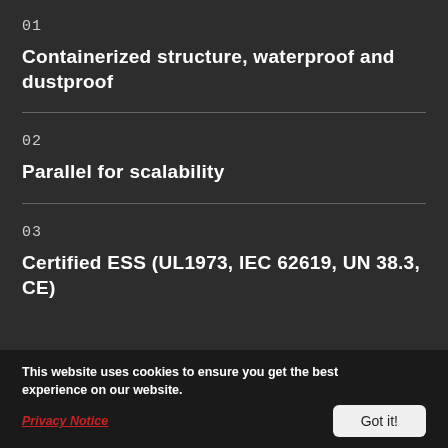01
Containerized structure, waterproof and dustproof
02
Parallel for scalability
03
Certified ESS (UL1973, IEC 62619, UN 38.3, CE)
This website uses cookies to ensure you get the best experience on our website.
Privacy Notice   Got it!